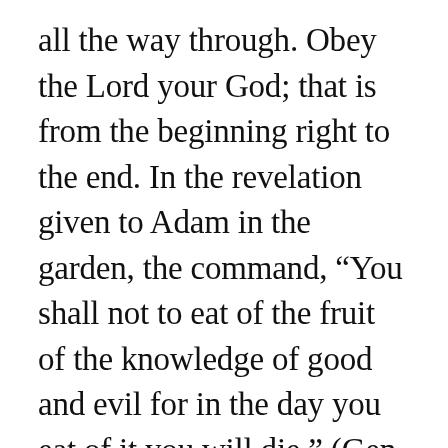all the way through. Obey the Lord your God; that is from the beginning right to the end. In the revelation given to Adam in the garden, the command, “You shall not to eat of the fruit of the knowledge of good and evil for in the day you eat of it you will die,” (Gen 2:17) doesn’t